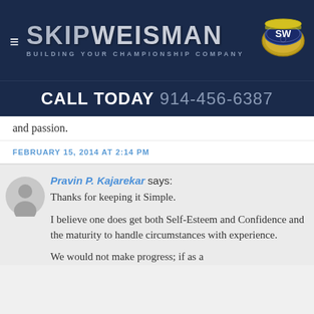Skip Weisman — Building Your Championship Company
CALL TODAY 914-456-6387
and passion.
FEBRUARY 15, 2014 AT 2:14 PM
Pravin P. Kajarekar says: Thanks for keeping it Simple. I believe one does get both Self-Esteem and Confidence and the maturity to handle circumstances with experience. We would not make progress; if as a
[Figure (illustration): Generic user avatar — grey circle with silhouette of person]